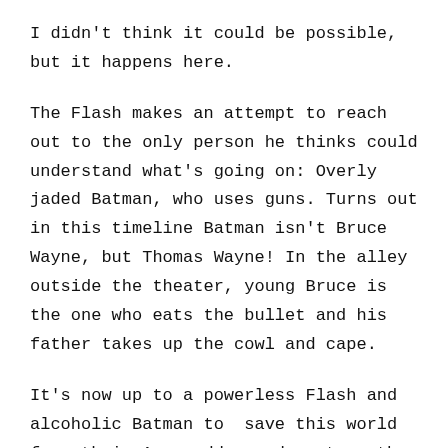I didn't think it could be possible, but it happens here.
The Flash makes an attempt to reach out to the only person he thinks could understand what's going on: Overly jaded Batman, who uses guns. Turns out in this timeline Batman isn't Bruce Wayne, but Thomas Wayne! In the alley outside the theater, young Bruce is the one who eats the bullet and his father takes up the cowl and cape.
It's now up to a powerless Flash and alcoholic Batman to  save this world from their Armageddon and restore the timeline.
WHAT WORKED: